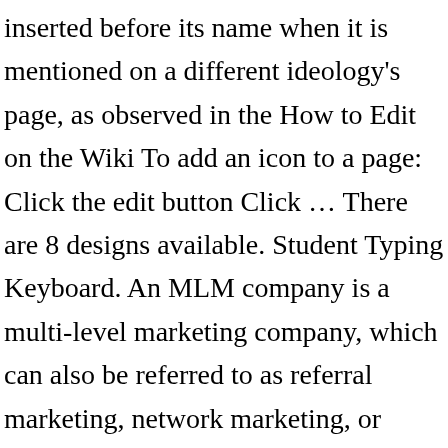inserted before its name when it is mentioned on a different ideology's page, as observed in the How to Edit on the Wiki To add an icon to a page: Click the edit button Click … There are 8 designs available. Student Typing Keyboard. An MLM company is a multi-level marketing company, which can also be referred to as referral marketing, network marketing, or pyramid selling. Mobile Phone Smartphone. 274 followers. Daily thousands of new images Completely Free to Use High-quality videos and images from Pexels 538